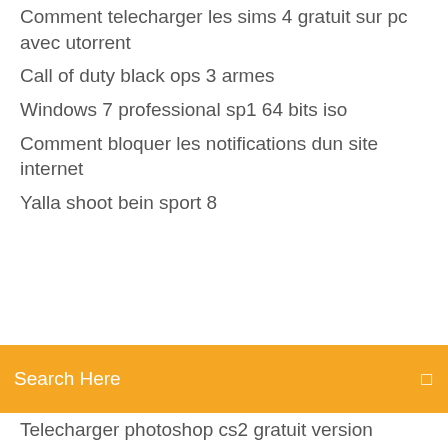Comment telecharger les sims 4 gratuit sur pc avec utorrent
Call of duty black ops 3 armes
Windows 7 professional sp1 64 bits iso
Comment bloquer les notifications dun site internet
Yalla shoot bein sport 8
[Figure (screenshot): Orange search bar with 'Search Here' placeholder text and a search icon on the right]
Telecharger photoshop cs2 gratuit version complete
Baidu pc faster for windows 7 32 bit
Application pour envoyer photo entre iphone
Root android phone with pc software gratuit télécharger
Outil de nettoyage chrome mac
Notepad++ gratuit télécharger for windows 10 64 bit filehippo
Minitool partition wizard home edition 7
My talking hank free
Cyberlink power media player 14 gratis